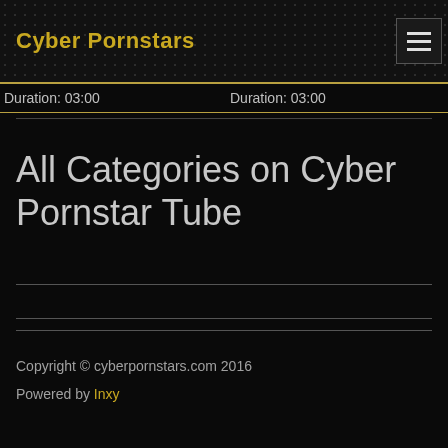Cyber Pornstars
Duration: 03:00    Duration: 03:00
All Categories on Cyber Pornstar Tube
Copyright © cyberpornstars.com 2016
Powered by Inxy